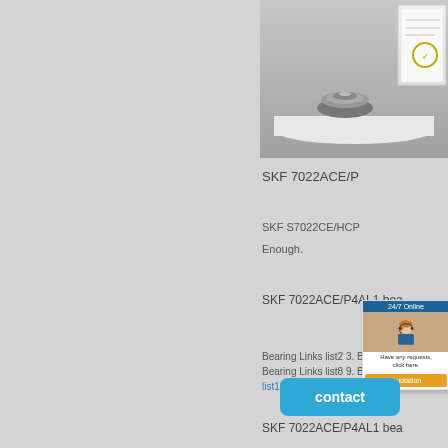[Figure (photo): Product display image showing SKF bearing on pedestal with certificate document in background, partially cropped on right side]
[Figure (illustration): 24/7 Online chat widget with customer service representative photo, message text 'Have any requests, click here.' and orange Quotation button]
SKF 7022ACE/P
SKF S7022CE/HCP
Enough.
SKF 7022ACE/P4AL1 bea
Bearing Links list2 3. Bearing L
Bearing Links list8 9. Bearing L
list13 14. Bearing Links list14 1
[Figure (illustration): Blue rounded contact button with white text 'contact']
SKF 7022ACE/P4AL1 bea